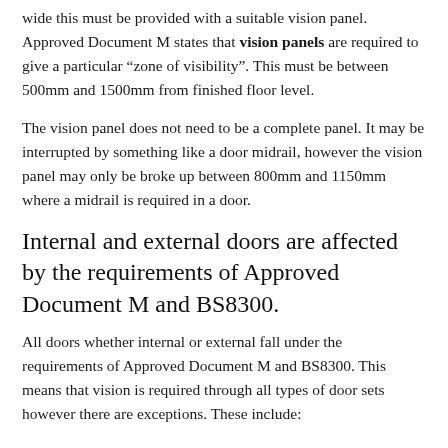wide this must be provided with a suitable vision panel. Approved Document M states that vision panels are required to give a particular “zone of visibility”. This must be between 500mm and 1500mm from finished floor level.
The vision panel does not need to be a complete panel. It may be interrupted by something like a door midrail, however the vision panel may only be broke up between 800mm and 1150mm where a midrail is required in a door.
Internal and external doors are affected by the requirements of Approved Document M and BS8300.
All doors whether internal or external fall under the requirements of Approved Document M and BS8300. This means that vision is required through all types of door sets however there are exceptions. These include: